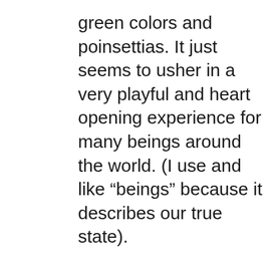green colors and poinsettias. It just seems to usher in a very playful and heart opening experience for many beings around the world. (I use and like “beings” because it describes our true state).

On a metaphysical plane this year has a very high vibration for